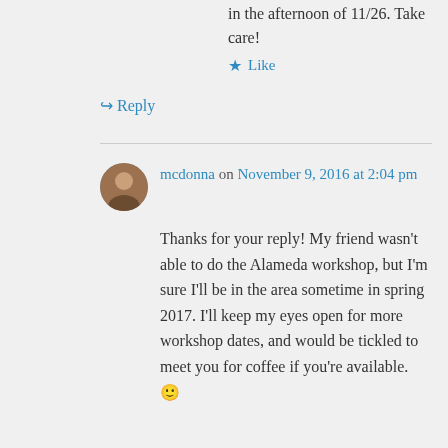in the afternoon of 11/26. Take care!
★ Like
↳ Reply
mcdonna on November 9, 2016 at 2:04 pm
Thanks for your reply! My friend wasn't able to do the Alameda workshop, but I'm sure I'll be in the area sometime in spring 2017. I'll keep my eyes open for more workshop dates, and would be tickled to meet you for coffee if you're available. 🙂